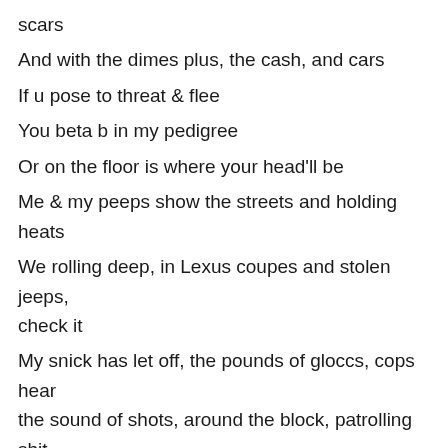scars
And with the dimes plus, the cash, and cars
If u pose to threat & flee
You beta b in my pedigree
Or on the floor is where your head'll be
Me & my peeps show the streets and holding heats
We rolling deep, in Lexus coupes and stolen jeeps, check it
My snick has let off, the pounds of gloccs, cops hear the sound of shots, around the block, patrolling shit around the clock
And I'm a keep peeling guns, till I'm feeling funds, and once the deal is done
I'm guaranteed to be 4-wheelin, son
And I'll never leave Bl...